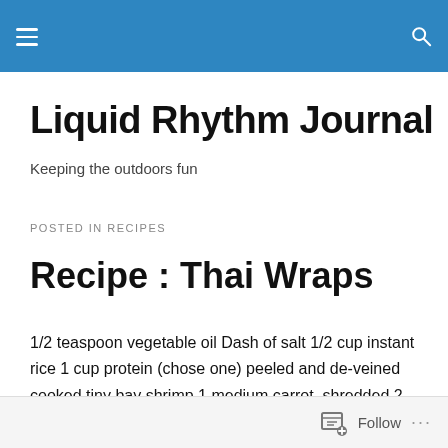Liquid Rhythm Journal — navigation header bar
Liquid Rhythm Journal
Keeping the outdoors fun
POSTED IN RECIPES
Recipe : Thai Wraps
1/2 teaspoon vegetable oil Dash of salt 1/2 cup instant rice 1 cup protein (chose one) peeled and de-veined cooked tiny bay shrimp 1 medium carrot, shredded 2 scallions, thinly sliced 1/4 cup bottled Asian peanut sauce 2
Follow